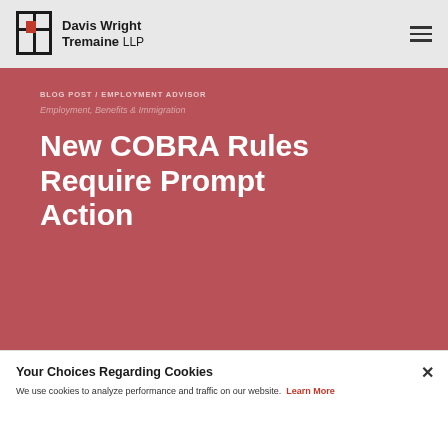Davis Wright Tremaine LLP
BLOG POST / EMPLOYMENT ADVISOR
Employment, Benefits & Immigration
New COBRA Rules Require Prompt Action
Your Choices Regarding Cookies
We use cookies to analyze performance and traffic on our website. Learn More